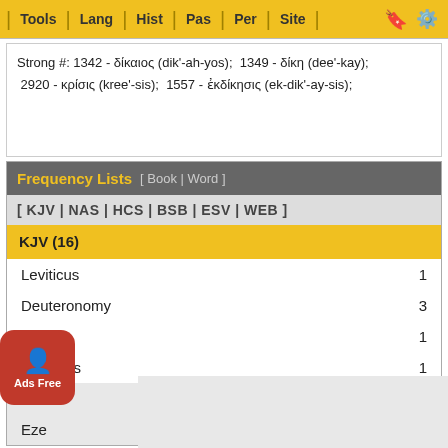Tools | Lang | Hist | Pas | Per | Site
Strong #: 1342 - δίκαιος (dik'-ah-yos);  1349 - δίκη (dee'-kay);  2920 - κρίσις (kree'-sis);  1557 - ἐκδίκησις (ek-dik'-ay-sis);
Frequency Lists  [ Book | Word ]
[ KJV | NAS | HCS | BSB | ESV | WEB ]
KJV (16)
Leviticus    1
Deuteronomy    3
Psalms    1
Proverbs    1
Isaiah    6
Ezekiel    3